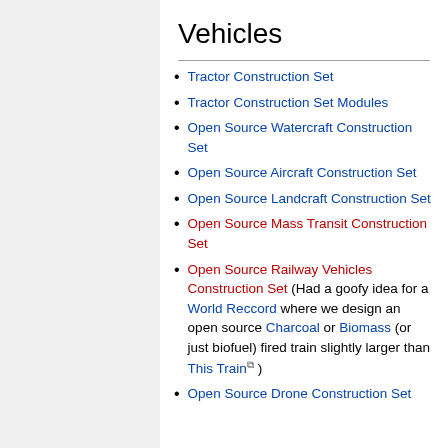Vehicles
Tractor Construction Set
Tractor Construction Set Modules
Open Source Watercraft Construction Set
Open Source Aircraft Construction Set
Open Source Landcraft Construction Set
Open Source Mass Transit Construction Set
Open Source Railway Vehicles Construction Set (Had a goofy idea for a World Reccord where we design an open source Charcoal or Biomass (or just biofuel) fired train slightly larger than This Train )
Open Source Drone Construction Set